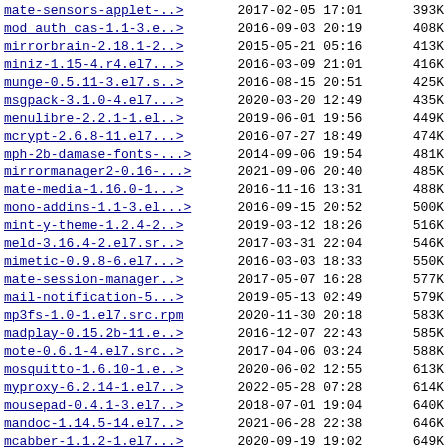| Name | Date | Time | Size |
| --- | --- | --- | --- |
| mate-sensors-applet-..> | 2017-02-05 | 17:01 | 393K |
| mod_auth_cas-1.1-3.e..> | 2016-09-03 | 20:19 | 408K |
| mirrorbrain-2.18.1-2..> | 2015-05-21 | 05:16 | 413K |
| miniz-1.15-4.r4.el7...> | 2016-03-09 | 21:01 | 416K |
| munge-0.5.11-3.el7.s..> | 2016-08-15 | 20:51 | 425K |
| msgpack-3.1.0-4.el7...> | 2020-03-20 | 12:49 | 435K |
| menulibre-2.2.1-1.el..> | 2019-06-01 | 19:56 | 449K |
| mcrypt-2.6.8-11.el7...> | 2016-07-27 | 18:49 | 474K |
| mph-2b-damase-fonts-...> | 2014-09-06 | 19:54 | 481K |
| mirrormanager2-0.16-...> | 2021-09-06 | 20:40 | 485K |
| mate-media-1.16.0-1...> | 2016-11-16 | 13:31 | 488K |
| mono-addins-1.1-3.el...> | 2016-09-15 | 20:52 | 500K |
| mint-y-theme-1.2.4-2..> | 2019-03-12 | 18:26 | 516K |
| meld-3.16.4-2.el7.sr..> | 2017-03-31 | 22:04 | 546K |
| mimetic-0.9.8-6.el7...> | 2016-03-03 | 18:33 | 550K |
| mate-session-manager..> | 2017-05-07 | 16:28 | 577K |
| mail-notification-5...> | 2019-05-13 | 02:49 | 579K |
| mp3fs-1.0-1.el17.src.rpm | 2020-11-30 | 20:18 | 583K |
| madplay-0.15.2b-11.e..> | 2016-12-07 | 22:43 | 585K |
| mote-0.6.1-4.el7.src..> | 2017-04-06 | 03:24 | 588K |
| mosquitto-1.6.10-1.e..> | 2020-06-02 | 12:55 | 613K |
| myproxy-6.2.14-1.el7..> | 2022-05-28 | 07:28 | 614K |
| mousepad-0.4.1-3.el7..> | 2018-07-01 | 19:04 | 640K |
| mandoc-1.14.5-14.el7..> | 2021-06-28 | 22:38 | 646K |
| mcabber-1.1.2-1.el7...> | 2020-09-19 | 19:02 | 649K |
| mhash-0.9.9.9-10.el7..> | 2015-01-22 | 02:55 | 655K |
| mmdb2-2.0.1-3.el7.sr..> | 2014-11-29 | 23:15 | 710K |
| mono-cecil-0.9.6-6.e..> | 2016-09-15 | 20:52 | 716K |
| mate-calc-1.8.0-1.el..> | 2014-03-29 | 20:52 | 742K |
| myParser-2.2.5.9.el7...> | 2018-11-20 | 04:25 | 752K |